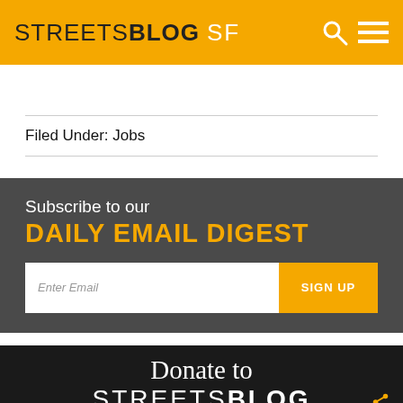STREETSBLOG SF
Filed Under: Jobs
Subscribe to our DAILY EMAIL DIGEST
[Figure (screenshot): Email signup form with Enter Email input and SIGN UP button]
[Figure (screenshot): Donate to STREETSBLOG partial banner at bottom of page]